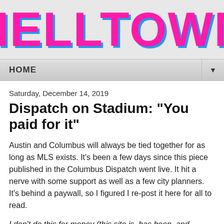HELLTOWN
HOME
Saturday, December 14, 2019
Dispatch on Stadium: "You paid for it"
Austin and Columbus will always be tied together for as long as MLS exists. It's been a few days since this piece published in the Columbus Dispatch went live. It hit a nerve with some support as well as a few city planners. It's behind a paywall, so I figured I re-post it here for all to read.
I don't do this for money (this site is, has been, and always will be, ad-free and completely independent). This is for